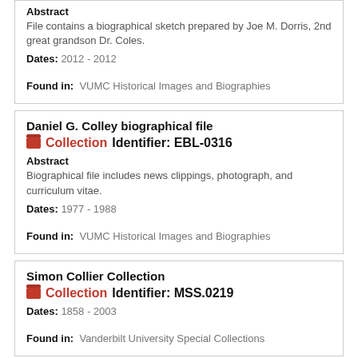Abstract
File contains a biographical sketch prepared by Joe M. Dorris, 2nd great grandson Dr. Coles.

Dates: 2012 - 2012

Found in: VUMC Historical Images and Biographies
Daniel G. Colley biographical file
Collection   Identifier: EBL-0316
Abstract
Biographical file includes news clippings, photograph, and curriculum vitae.

Dates: 1977 - 1988

Found in: VUMC Historical Images and Biographies
Simon Collier Collection
Collection   Identifier: MSS.0219
Dates: 1858 - 2003

Found in: Vanderbilt University Special Collections
Robert D. Collins Papers